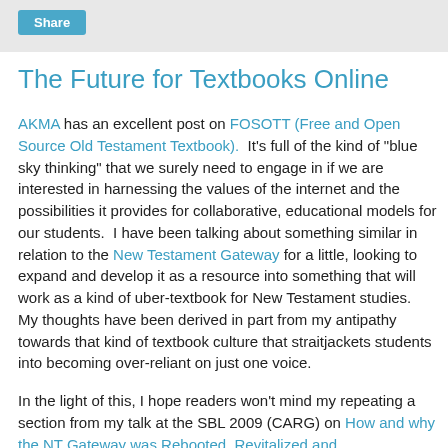Share
The Future for Textbooks Online
AKMA has an excellent post on FOSOTT (Free and Open Source Old Testament Textbook).  It's full of the kind of "blue sky thinking" that we surely need to engage in if we are interested in harnessing the values of the internet and the possibilities it provides for collaborative, educational models for our students.  I have been talking about something similar in relation to the New Testament Gateway for a little, looking to expand and develop it as a resource into something that will work as a kind of uber-textbook for New Testament studies.  My thoughts have been derived in part from my antipathy towards that kind of textbook culture that straitjackets students into becoming over-reliant on just one voice.
In the light of this, I hope readers won't mind my repeating a section from my talk at the SBL 2009 (CARG) on How and why the NT Gateway was Rebooted, Revitalized and